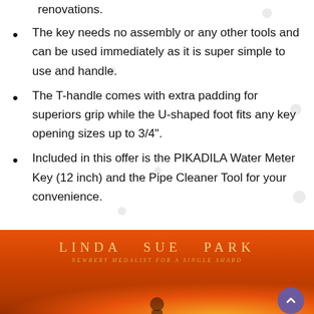renovations.
The key needs no assembly or any other tools and can be used immediately as it is super simple to use and handle.
The T-handle comes with extra padding for superiors grip while the U-shaped foot fits any key opening sizes up to 3/4".
Included in this offer is the PIKADILA Water Meter Key (12 inch) and the Pipe Cleaner Tool for your convenience.
[Figure (photo): Book cover section showing orange/red sunset background with author name LINDA SUE PARK and subtitle NEWBERY MEDALIST FOR A SINGLE SHARD]